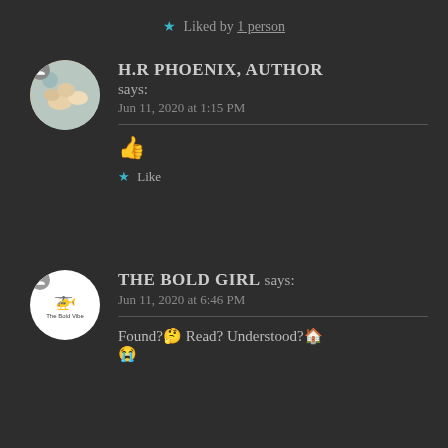★ Liked by 1 person
H.R PHOENIX, AUTHOR says: Jun 11, 2020 at 1:15 PM
👍
★ Like
THE BOLD GIRL says: Jun 11, 2020 at 6:46 PM
Found?🤔 Read? Understood?🏠 😭